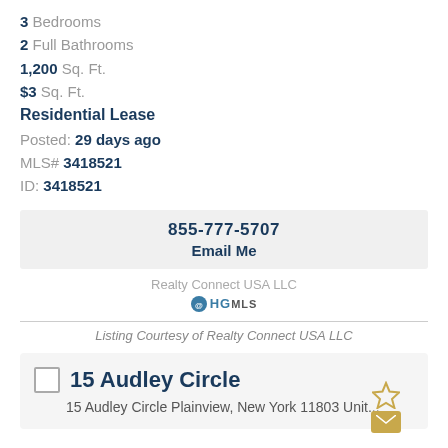3 Bedrooms
2 Full Bathrooms
1,200 Sq. Ft.
$3 Sq. Ft.
Residential Lease
Posted: 29 days ago
MLS# 3418521
ID: 3418521
855-777-5707
Email Me
Realty Connect USA LLC
[Figure (logo): HGMLS logo with blue circle and text]
Listing Courtesy of Realty Connect USA LLC
15 Audley Circle
15 Audley Circle Plainview, New York 11803 Unit...